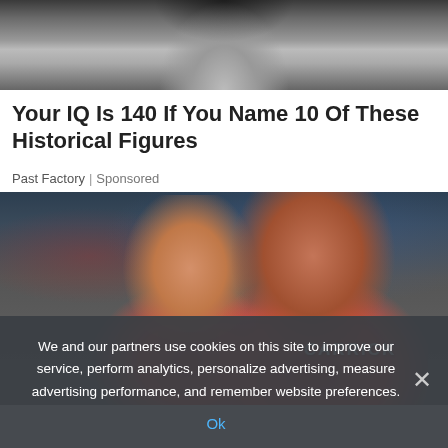[Figure (photo): Black and white close-up photo of a person's chin and neck, cropped at the bottom of a portrait]
Your IQ Is 140 If You Name 10 Of These Historical Figures
Past Factory | Sponsored
[Figure (photo): Photo of two football players in red Manchester United jerseys, one with 'CARRICK' on the back, appearing to be in discussion during a match]
We and our partners use cookies on this site to improve our service, perform analytics, personalize advertising, measure advertising performance, and remember website preferences.
Ok